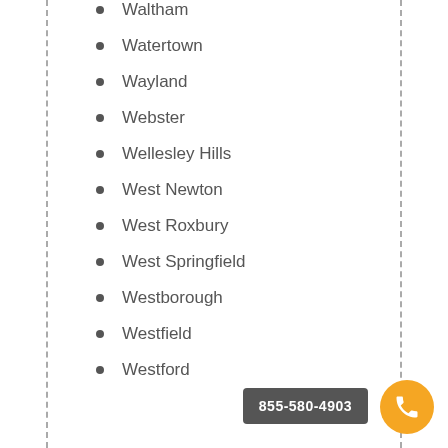Waltham
Watertown
Wayland
Webster
Wellesley Hills
West Newton
West Roxbury
West Springfield
Westborough
Westfield
Westford
855-580-4903